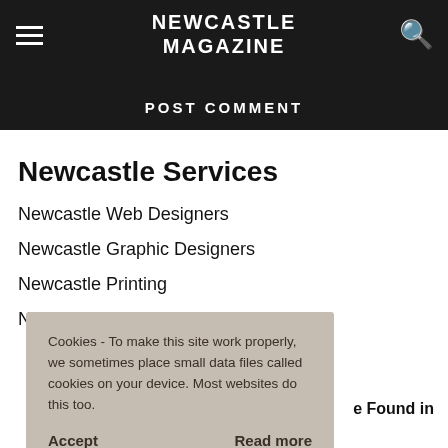NEWCASTLE MAGAZINE
POST COMMENT
Newcastle Services
Newcastle Web Designers
Newcastle Graphic Designers
Newcastle Printing
Cookies - To make this site work properly, we sometimes place small data files called cookies on your device. Most websites do this too.
Accept    Read more